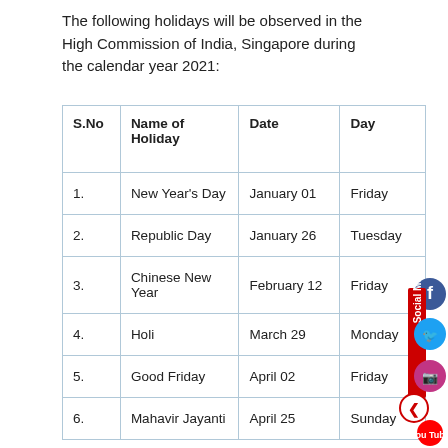The following holidays will be observed in the High Commission of India, Singapore during the calendar year 2021:
| S.No | Name of Holiday | Date | Day |
| --- | --- | --- | --- |
| 1. | New Year's Day | January 01 | Friday |
| 2. | Republic Day | January 26 | Tuesday |
| 3. | Chinese New Year | February 12 | Friday |
| 4. | Holi | March 29 | Monday |
| 5. | Good Friday | April 02 | Friday |
| 6. | Mahavir Jayanti | April 25 | Sunday |